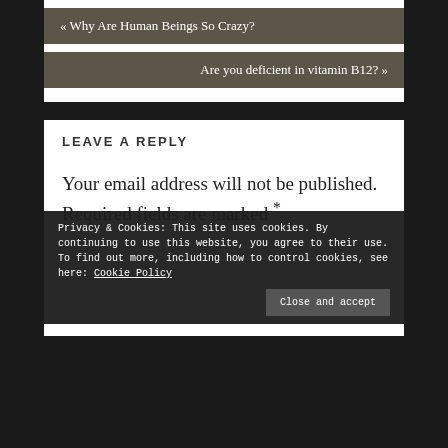« Why Are Human Beings So Crazy?
Are you deficient in vitamin B12? »
LEAVE A REPLY
Your email address will not be published. Required fields are marked *
Privacy & Cookies: This site uses cookies. By continuing to use this website, you agree to their use.
To find out more, including how to control cookies, see here: Cookie Policy
Close and accept